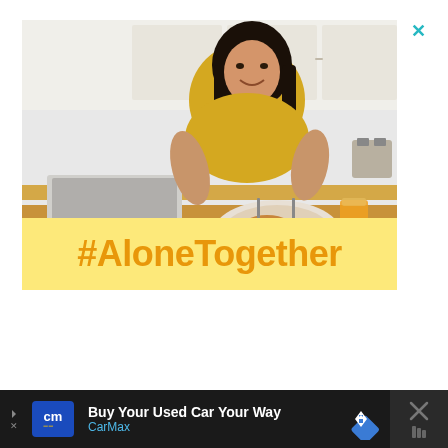[Figure (photo): Advertisement image showing a smiling young Asian woman with long dark hair wearing a mustard/yellow top, sitting at a kitchen table eating breakfast with a laptop open and a glass of orange juice. Kitchen background visible.]
#AloneTogether
[Figure (infographic): Like/heart button (teal circle with white heart icon) with count 26.2K below, and a share button (white circle with share icon) below that]
[Figure (infographic): CarMax advertisement banner at bottom: dark background with CarMax logo (blue square with cm letters and yellow lines), text 'Buy Your Used Car Your Way' in white, 'CarMax' in blue, navigation arrow icon in blue diamond shape on right]